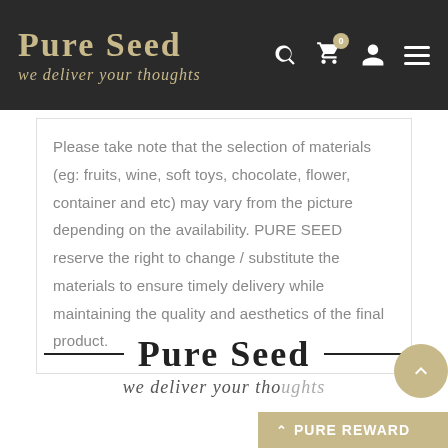Pure Seed — we deliver your thoughts
Please take note that the selection of materials (eg: fruits, wine, soft toys, chocolate, flower, container and etc) may vary from the picture depending on the availability. PURE SEED reserve the right to change / substitute the materials to ensure timely delivery while maintaining the quality and aesthetics of the final product.
Pure Seed
we deliver your tho...